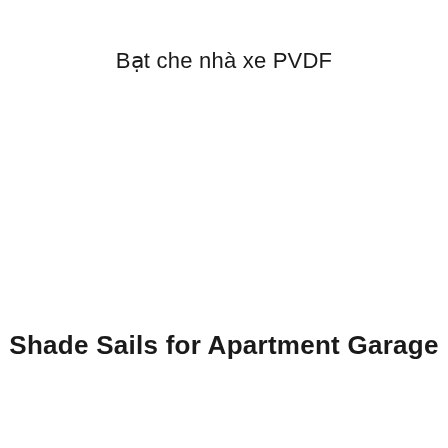Bạt che nhà xe PVDF
Shade Sails for Apartment Garage